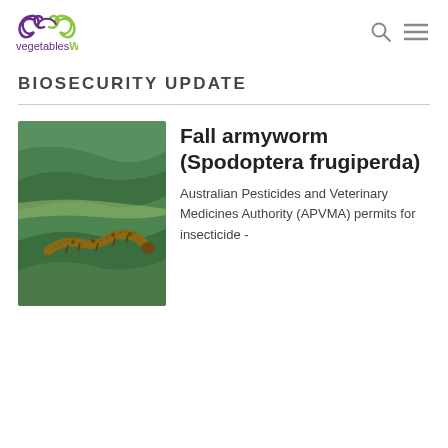[Figure (logo): vegetablesWA logo with stylized leaf/vine icon in purple and green]
BIOSECURITY UPDATE
[Figure (photo): Fall armyworm caterpillar (brown, segmented) resting on a green leaf surface]
Fall armyworm (Spodoptera frugiperda)
Australian Pesticides and Veterinary Medicines Authority (APVMA) permits for insecticide -